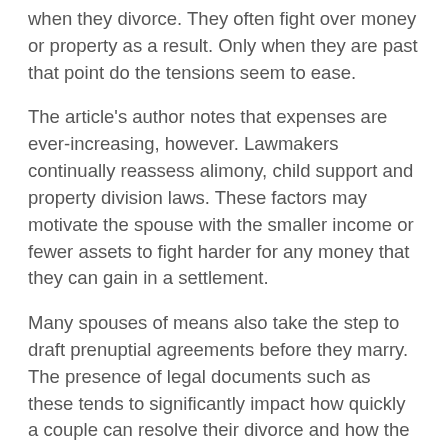when they divorce. They often fight over money or property as a result. Only when they are past that point do the tensions seem to ease.
The article's author notes that expenses are ever-increasing, however. Lawmakers continually reassess alimony, child support and property division laws. These factors may motivate the spouse with the smaller income or fewer assets to fight harder for any money that they can gain in a settlement.
Many spouses of means also take the step to draft prenuptial agreements before they marry. The presence of legal documents such as these tends to significantly impact how quickly a couple can resolve their divorce and how the property split goes.
However, tt...